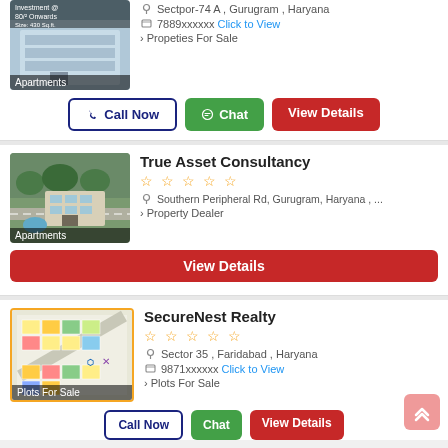[Figure (photo): Apartment building photo, partially cropped at top]
Sectpor-74 A , Gurugram , Haryana
7889xxxxxx  Click to View
Propeties For Sale
Call Now  Chat  View Details
[Figure (photo): Aerial view of apartment complex - True Asset Consultancy]
True Asset Consultancy
☆☆☆☆☆
Southern Peripheral Rd, Gurugram, Haryana , ...
Property Dealer
View Details
[Figure (photo): Plot map/layout for SecureNest Realty]
SecureNest Realty
☆☆☆☆☆
Sector 35 , Faridabad , Haryana
9871xxxxxx  Click to View
Plots For Sale